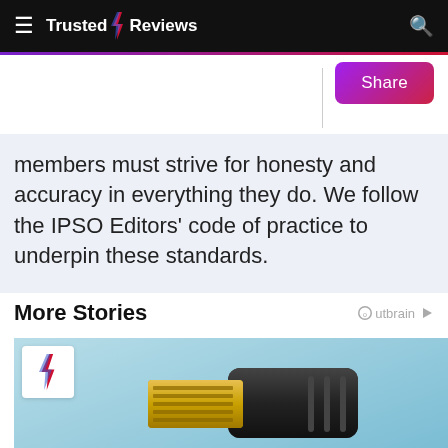Trusted Reviews
members must strive for honesty and accuracy in everything they do. We follow the IPSO Editors' code of practice to underpin these standards.
More Stories
[Figure (photo): Photo of a gold and black HDMI cable connector against a light blue background, with a white Trusted Reviews lightning bolt badge in the top-left corner]